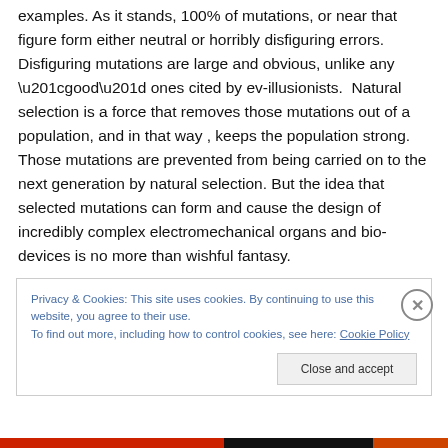examples. As it stands, 100% of mutations, or near that figure form either neutral or horribly disfiguring errors. Disfiguring mutations are large and obvious, unlike any “good” ones cited by ev-illusionists.  Natural selection is a force that removes those mutations out of a population, and in that way , keeps the population strong. Those mutations are prevented from being carried on to the next generation by natural selection. But the idea that selected mutations can form and cause the design of incredibly complex electromechanical organs and bio-devices is no more than wishful fantasy.
Privacy & Cookies: This site uses cookies. By continuing to use this website, you agree to their use.
To find out more, including how to control cookies, see here: Cookie Policy